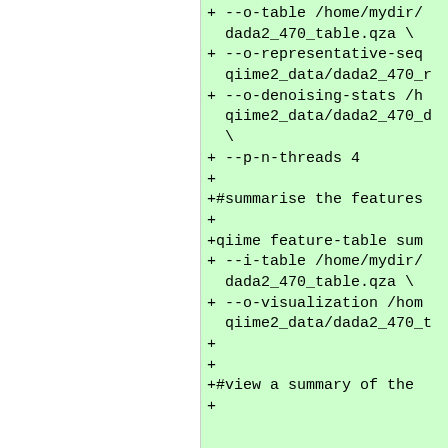+ --o-table /home/mydir/dada2_470_table.qza \
+ --o-representative-seq qiime2_data/dada2_470_r
+ --o-denoising-stats /h qiime2_data/dada2_470_d \
+ --p-n-threads 4
+
+#summarise the features
+
+qiime feature-table sum
+ --i-table /home/mydir/ dada2_470_table.qza \
+ --o-visualization /hom qiime2_data/dada2_470_t
+
+
+#view a summary of the
+